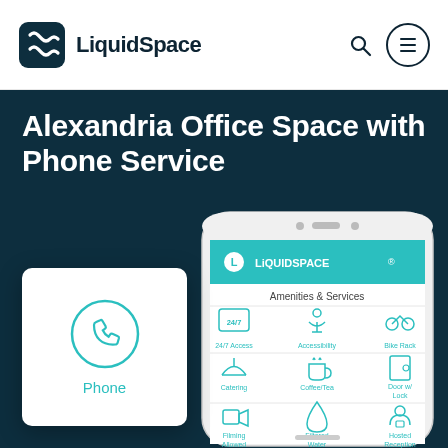LiquidSpace
Alexandria Office Space with Phone Service
[Figure (screenshot): LiquidSpace app screenshot showing amenities and services: 24/7 Access, Accessibility, Bike Rack, Catering, Coffee/Tea, Door w/ Lock, Filming Allowed, Filtered Water, Hosted Reception, and more icons visible on a smartphone mockup. A white card overlay shows a phone icon and the word Phone.]